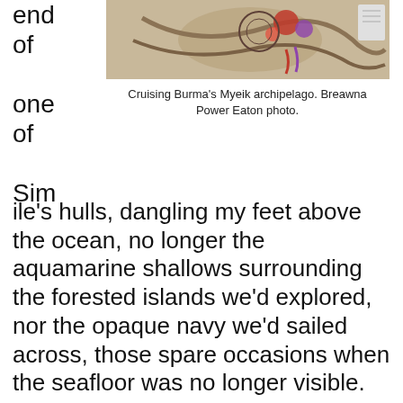end of one of Sim
[Figure (photo): Close-up photo of decorative nautical items including rope and colorful ornaments, related to cruising Burma's Myeik archipelago.]
Cruising Burma's Myeik archipelago. Breawna Power Eaton photo.
ile's hulls, dangling my feet above the ocean, no longer the aquamarine shallows surrounding the forested islands we'd explored, nor the opaque navy we'd sailed across, those spare occasions when the seafloor was no longer visible.
Our escape into the remote paradise of Burma's Myeik (Mergui) Archipelago – over 800 islands scattered across the Andaman Sea, off the country's southwestern coast — was over before the mainland returned within sight.